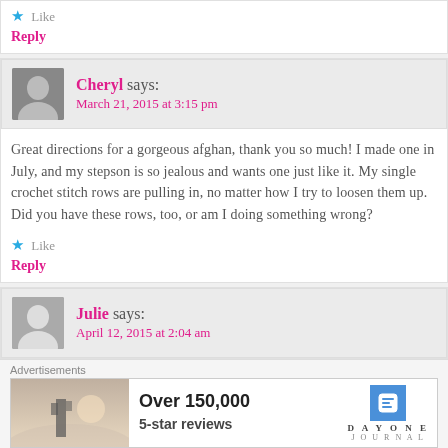Like
Reply
Cheryl says: March 21, 2015 at 3:15 pm
Great directions for a gorgeous afghan, thank you so much! I made one in July, and my stepson is so jealous and wants one just like it. My single crochet stitch rows are pulling in, no matter how I try to loosen them up. Did you have these rows, too, or am I doing something wrong?
Like
Reply
Julie says: April 12, 2015 at 2:04 am
Advertisements
[Figure (screenshot): Advertisement banner: Over 150,000 5-star reviews. Day One Journal app logo.]